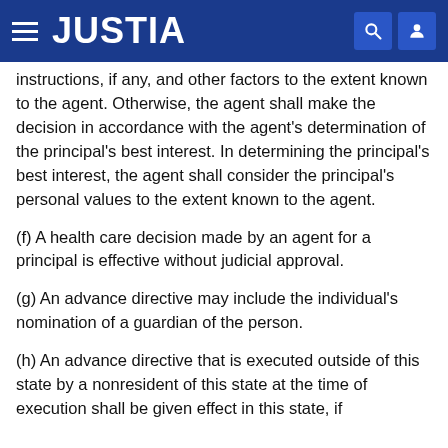JUSTIA
instructions, if any, and other factors to the extent known to the agent. Otherwise, the agent shall make the decision in accordance with the agent's determination of the principal's best interest. In determining the principal's best interest, the agent shall consider the principal's personal values to the extent known to the agent.
(f) A health care decision made by an agent for a principal is effective without judicial approval.
(g) An advance directive may include the individual's nomination of a guardian of the person.
(h) An advance directive that is executed outside of this state by a nonresident of this state at the time of execution shall be given effect in this state, if